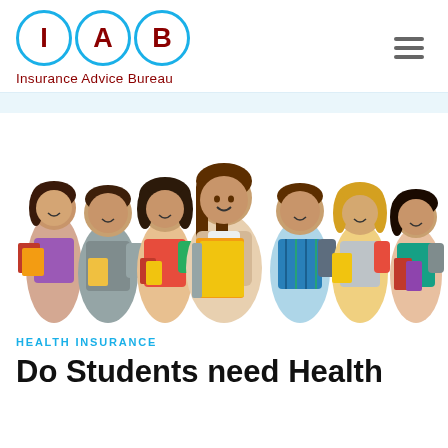[Figure (logo): IAB Insurance Advice Bureau logo: three circles with letters I, A, B in dark red with blue outlines, and tagline 'Insurance Advice Bureau' in dark red below]
[Figure (photo): Group of seven smiling students holding books and folders against a white background]
HEALTH INSURANCE
Do Students need Health